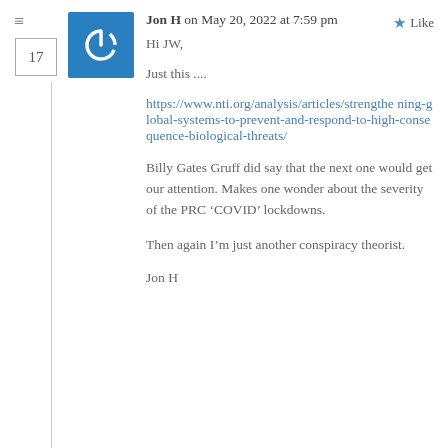Jon H on May 20, 2022 at 7:59 pm
Like
Hi JW,
Just this ....
https://www.nti.org/analysis/articles/strengthening-global-systems-to-prevent-and-respond-to-high-consequence-biological-threats/
Billy Gates Gruff did say that the next one would get our attention. Makes one wonder about the severity of the PRC ‘COVID’ lockdowns.
Then again I’m just another conspiracy theorist.
Jon H